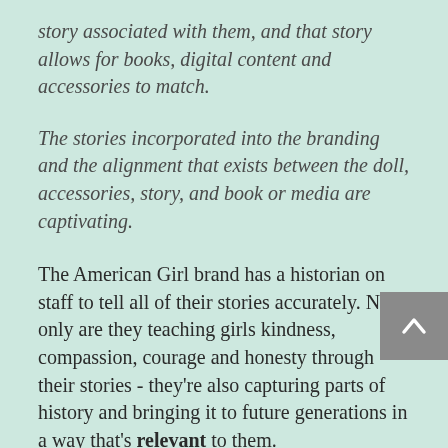story associated with them, and that story allows for books, digital content and accessories to match.
The stories incorporated into the branding and the alignment that exists between the doll, accessories, story, and book or media are captivating.
The American Girl brand has a historian on staff to tell all of their stories accurately. Not only are they teaching girls kindness, compassion, courage and honesty through their stories - they're also capturing parts of history and bringing it to future generations in a way that's relevant to them.
The messaging is focused on character